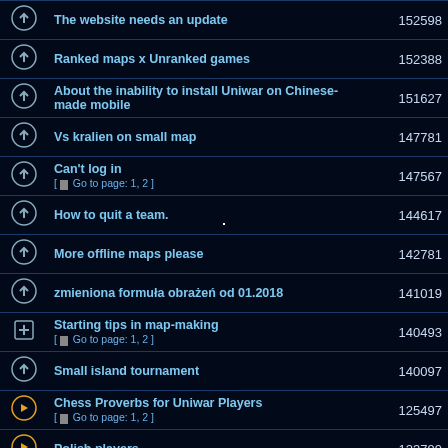|  | Topic | Views |
| --- | --- | --- |
| icon | The website needs an update | 152598 |
| icon | Ranked maps x Unranked games | 152388 |
| icon | About the inability to install Uniwar on Chinese-made mobile | 151627 |
| icon | Vs kralien on small map | 147781 |
| icon | Can't log in
[ Go to page: 1, 2 ] | 147567 |
| icon | How to quit a team. | 144617 |
| icon | More offline maps please | 142781 |
| icon | zmieniona formuła obrażeń od 01.2018 | 141019 |
| icon | Starting tips in map-making
[ Go to page: 1, 2 ] | 140493 |
| icon | Small island tournament | 140097 |
| icon | Chess Proverbs for Uniwar Players
[ Go to page: 1, 2 ] | 125497 |
| icon | Polish players | 123799 |
| icon | Bug bounty: find a new bug and receive uni-coins
[ Go to page: 1, 2, 3, 4, 5 ] | 105060 |
| icon | Gangup bonus
[ Go to page: 1, 2, 3, 4 ] | 102643 |
| icon | Teams
[ Go to page: 1, 2 ] | 102465 |